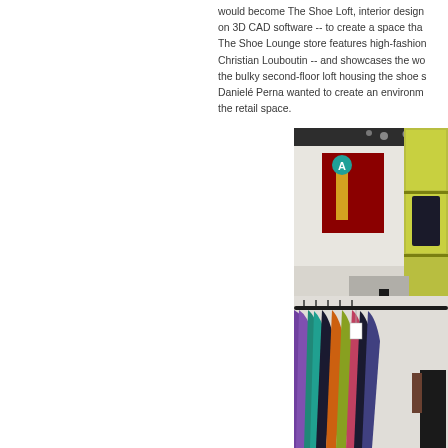would become The Shoe Loft, interior design on 3D CAD software -- to create a space that The Shoe Lounge store features high-fashion Christian Louboutin -- and showcases the wo the bulky second-floor loft housing the shoe s Danelé Perna wanted to create an environm the retail space.
[Figure (photo): Interior of a high-fashion retail store showing colorful clothing on a rack in the foreground (purple, teal, orange, green hues), and in the background a white loft wall with a red and yellow artwork piece displayed, plus yellow-green shelving with spotlights on ceiling. A person is visible near the clothes rack.]